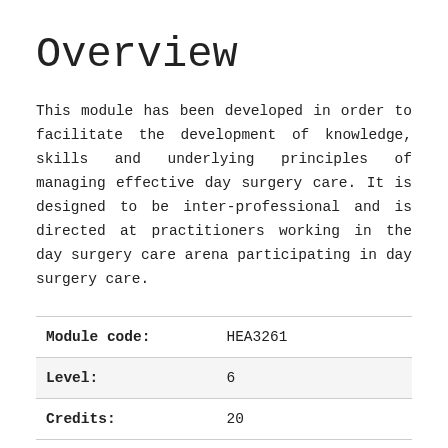Overview
This module has been developed in order to facilitate the development of knowledge, skills and underlying principles of managing effective day surgery care. It is designed to be inter-professional and is directed at practitioners working in the day surgery care arena participating in day surgery care.
| Module code: | HEA3261 |
| Level: | 6 |
| Credits: | 20 |